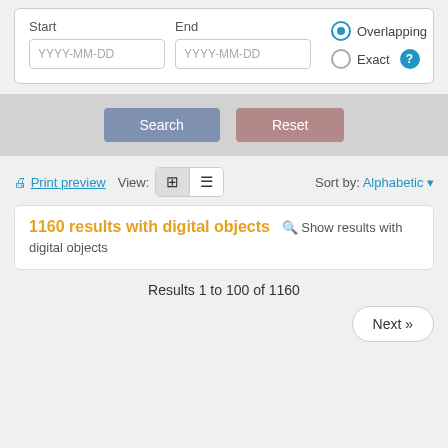[Figure (screenshot): Search form UI with Start and End date fields (YYYY-MM-DD placeholders), Overlapping radio selected, Exact radio unselected with help icon, Search and Reset buttons, Print preview link, View toggle buttons (grid/list), Sort by Alphabetic dropdown, results box showing 1160 results with digital objects, Results 1 to 100 of 1160, and Next button.]